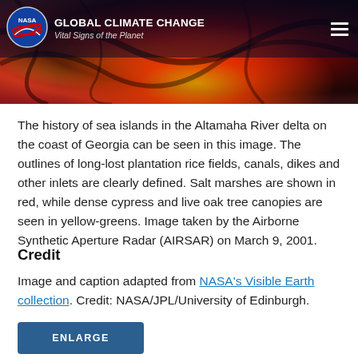NASA GLOBAL CLIMATE CHANGE Vital Signs of the Planet
[Figure (photo): Satellite/radar false-color image of the Altamaha River delta, Georgia coast, showing sea islands in red, orange, and yellow-green tones representing salt marshes and tree canopies.]
The history of sea islands in the Altamaha River delta on the coast of Georgia can be seen in this image. The outlines of long-lost plantation rice fields, canals, dikes and other inlets are clearly defined. Salt marshes are shown in red, while dense cypress and live oak tree canopies are seen in yellow-greens. Image taken by the Airborne Synthetic Aperture Radar (AIRSAR) on March 9, 2001.
Credit
Image and caption adapted from NASA's Visible Earth collection. Credit: NASA/JPL/University of Edinburgh.